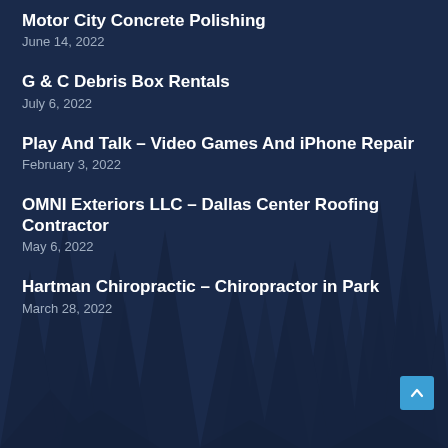Motor City Concrete Polishing
June 14, 2022
G & C Debris Box Rentals
July 6, 2022
Play And Talk – Video Games And iPhone Repair
February 3, 2022
OMNI Exteriors LLC – Dallas Center Roofing Contractor
May 6, 2022
Hartman Chiropractic – Chiropractor in Park
March 28, 2022